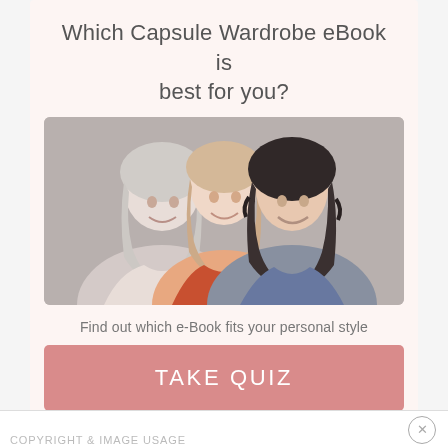Which Capsule Wardrobe eBook is best for you?
[Figure (photo): Three smiling women posing together; one with silver/gray hair, one with blonde hair in the middle, one with dark curly hair on the right wearing a denim jacket]
Find out which e-Book fits your personal style
TAKE QUIZ
Powered by interact
COPYRIGHT & IMAGE USAGE